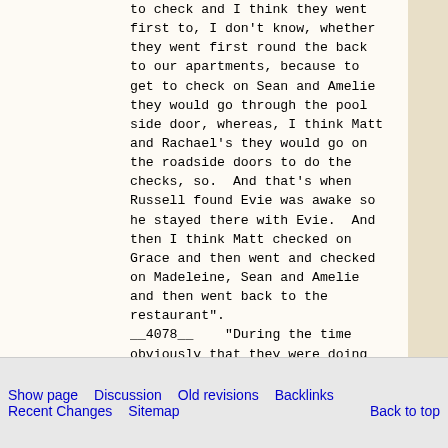to check and I think they went first to, I don't know, whether they went first round the back to our apartments, because to get to check on Sean and Amelie they would go through the pool side door, whereas, I think Matt and Rachael's they would go on the roadside doors to do the checks, so.  And that's when Russell found Evie was awake so he stayed there with Evie.  And then I think Matt checked on Grace and then went and checked on Madeleine, Sean and Amelie and then went back to the restaurant".
__4078__    "During the time obviously that they were doing that, you were sat at the table?"
**Reply**    "Yeah, we were just sat at the table, yeah".
    4078      "And at what stage
Show page   Discussion   Old revisions   Backlinks
Recent Changes   Sitemap   Back to top